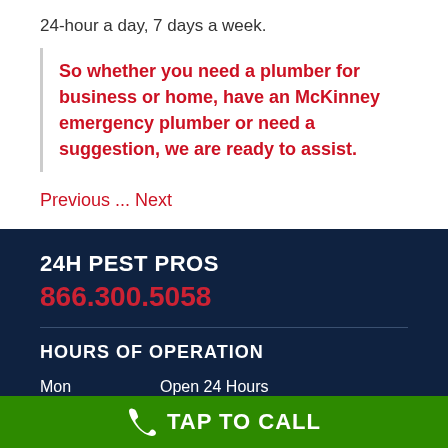24-hour a day, 7 days a week.
So whether you need a plumber for business or home, have an McKinney emergency plumber or need a suggestion, we are ready to assist.
Previous ... Next
24H PEST PROS
866.300.5058
HOURS OF OPERATION
| Day | Hours |
| --- | --- |
| Mon | Open 24 Hours |
| Tue | Open 24 Hours |
TAP TO CALL